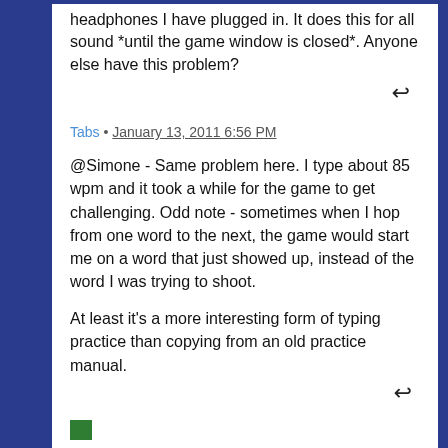headphones I have plugged in. It does this for all sound *until the game window is closed*. Anyone else have this problem?
Tabs • January 13, 2011 6:56 PM
@Simone - Same problem here. I type about 85 wpm and it took a while for the game to get challenging. Odd note - sometimes when I hop from one word to the next, the game would start me on a word that just showed up, instead of the word I was trying to shoot.

At least it's a more interesting form of typing practice than copying from an old practice manual.